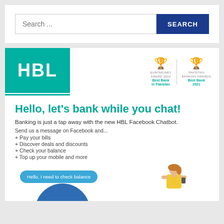Search ...
[Figure (logo): HBL bank logo — white HBL text on teal/green background square]
[Figure (illustration): Euromoney Award 2022 Best Bank in Pakistan and Pakistan Banking Awards Best Bank 2021 trophies]
Hello, let's bank while you chat!
Banking is just a tap away with the new HBL Facebook Chatbot.
Send us a message on Facebook and...
+ Pay your bills
+ Discover deals and discounts
+ Check your balance
+ Top up your mobile and more
[Figure (illustration): Chat preview showing chat bubble 'Hello, I need to check balance' with a woman holding a phone and a blue circle graphic]